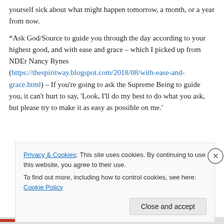yourself sick about what might happen tomorrow, a month, or a year from now.
*Ask God/Source to guide you through the day according to your highest good, and with ease and grace – which I picked up from NDEr Nancy Rynes (https://thespiritway.blogspot.com/2018/08/with-ease-and-grace.html) – If you're going to ask the Supreme Being to guide you, it can't hurt to say, 'Look, I'll do my best to do what you ask, but please try to make it as easy as possible on me.'
Privacy & Cookies: This site uses cookies. By continuing to use this website, you agree to their use. To find out more, including how to control cookies, see here: Cookie Policy